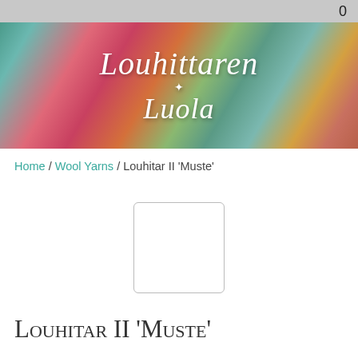0
[Figure (illustration): Louhittaren Luola logo banner — decorative script text reading 'Louhittaren Luola' with a small spider icon, set over a colorful knitted yarn background in teal, pink, red, green, and gold tones.]
Home / Wool Yarns / Louhitar II 'Muste'
[Figure (photo): Product image placeholder — empty white rectangle with light grey border.]
Louhitar II 'Muste'